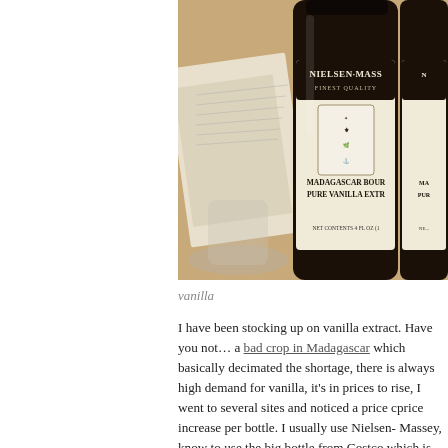[Figure (photo): Photo of Nielsen-Massey Madagascar Bourbon Pure Vanilla Extract bottles (dark glass, 4 fl oz) on a wooden surface with papers in background.]
vanilla
I have been stocking up on vanilla extract. Have you not… a bad crop in Madagascar which basically decimated the shortage, there is always high demand for vanilla, it's in prices to rise, I went to several sites and noticed a price c price increase per bottle. I usually use Nielsen- Massey, know to use the big bottle from Costco which is good as extract. So I found the 4 oz bottle at the same price at my bottles which should last until the next use and in th